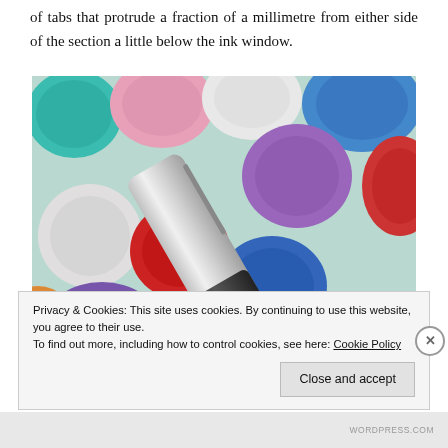of tabs that protrude a fraction of a millimetre from either side of the section a little below the ink window.
[Figure (photo): A fountain pen or similar writing instrument laid diagonally across multiple colourful balls of wool/yarn in various colours including teal, pink, white, blue, red, purple, orange. The pen has a silver upper section and a dark grey/black lower section.]
Privacy & Cookies: This site uses cookies. By continuing to use this website, you agree to their use.
To find out more, including how to control cookies, see here: Cookie Policy
Close and accept